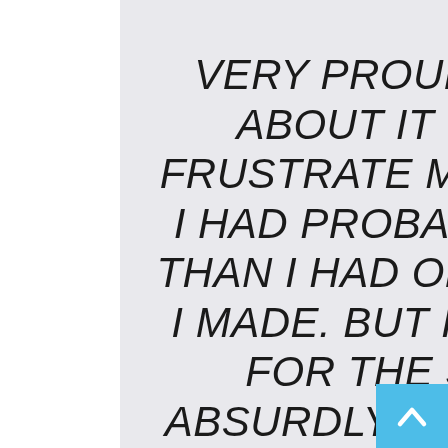VERY PROUD OF IT. THE THINGS ABOUT IT THAT ARE WRONG FRUSTRATE ME ENORMOUSLY, AND I HAD PROBABLY MORE OF THOSE THAN I HAD ON THE OTHER MOVIES I MADE. BUT I ALSO GOT TO MAKE, FOR THE SECOND TIME, AN ABSURDLY PERSONAL MOVIE THAT TALKED ABOUT
[Figure (other): Light blue scroll-to-top button with white upward-pointing chevron arrow, positioned in the bottom-right corner]